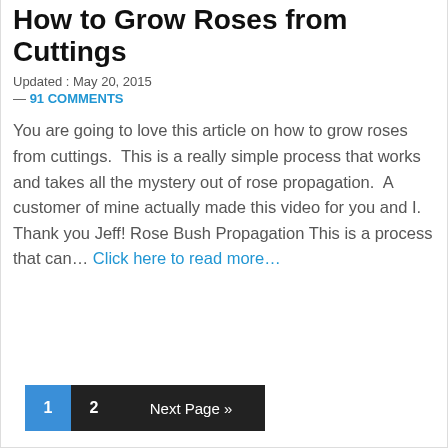How to Grow Roses from Cuttings
Updated : May 20, 2015
— 91 COMMENTS
You are going to love this article on how to grow roses from cuttings.  This is a really simple process that works and takes all the mystery out of rose propagation.  A customer of mine actually made this video for you and I. Thank you Jeff! Rose Bush Propagation This is a process that can… Click here to read more…
1  2  Next Page »